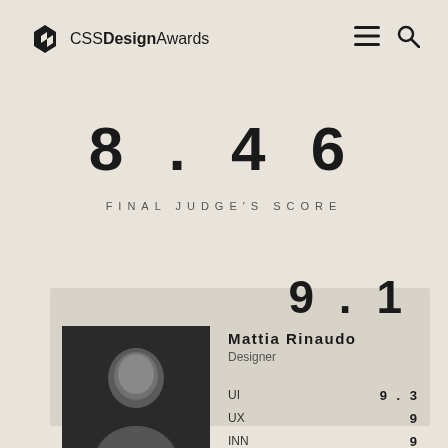CSS Design Awards
8.46
FINAL JUDGE'S SCORE
[Figure (photo): Judge card showing Mattia Rinaudo with photo, score 9.1, UI 9.3, UX 9, INN 9]
9.1
Mattia Rinaudo
Designer

UI  9.3
UX  9
INN  9